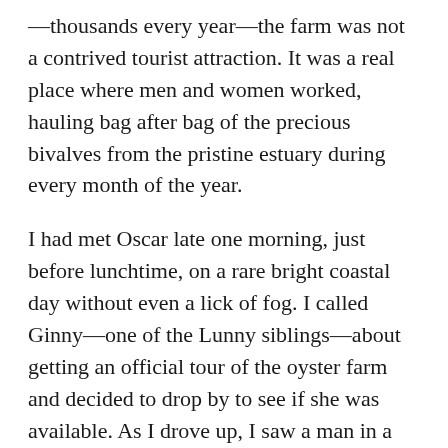—thousands every year—the farm was not a contrived tourist attraction. It was a real place where men and women worked, hauling bag after bag of the precious bivalves from the pristine estuary during every month of the year.

I had met Oscar late one morning, just before lunchtime, on a rare bright coastal day without even a lick of fog. I called Ginny—one of the Lunny siblings—about getting an official tour of the oyster farm and decided to drop by to see if she was available. As I drove up, I saw a man in a wetsuit running across the inlet of mudflats with a blue and white cooler carried on his shoulders. He left a trail of deep tracks behind him. On the far end, two more figures in wetsuits crouched beside a small cluster of triangular red flags